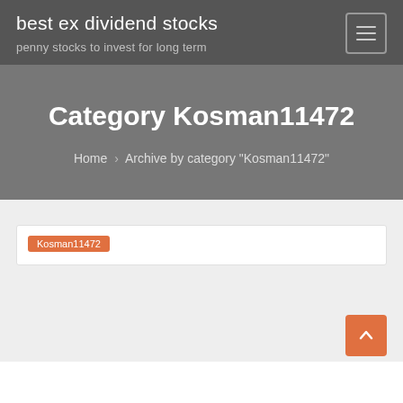best ex dividend stocks
penny stocks to invest for long term
Category Kosman11472
Home › Archive by category "Kosman11472"
Kosman11472